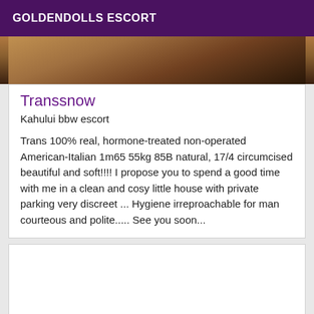GOLDENDOLLS ESCORT
[Figure (photo): Partial cropped photo showing a person, brownish tones, top portion visible]
Transsnow
Kahului bbw escort
Trans 100% real, hormone-treated non-operated American-Italian 1m65 55kg 85B natural, 17/4 circumcised beautiful and soft!!!! I propose you to spend a good time with me in a clean and cosy little house with private parking very discreet ... Hygiene irreproachable for man courteous and polite..... See you soon...